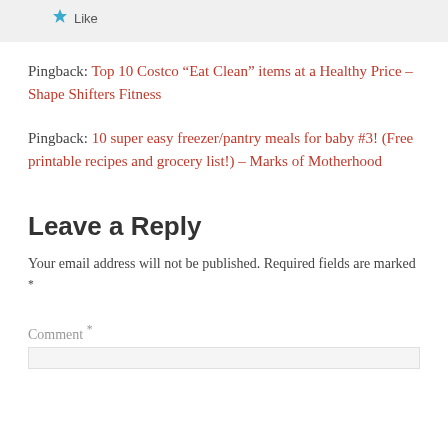[Figure (other): Like button area with blue star icon and 'Like' text on light gray background]
Pingback: Top 10 Costco “Eat Clean” items at a Healthy Price – Shape Shifters Fitness
Pingback: 10 super easy freezer/pantry meals for baby #3! (Free printable recipes and grocery list!) – Marks of Motherhood
Leave a Reply
Your email address will not be published. Required fields are marked *
Comment *